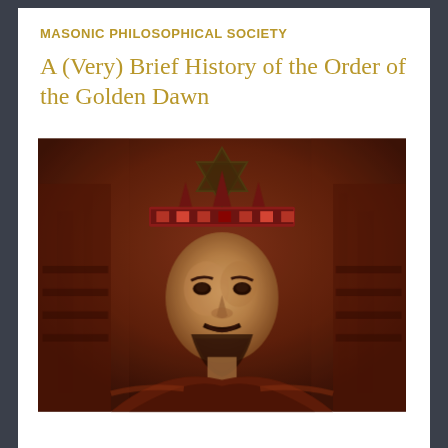MASONIC PHILOSOPHICAL SOCIETY
A (Very) Brief History of the Order of the Golden Dawn
[Figure (illustration): A painting or illustration of a man wearing a crown or headdress decorated with a six-pointed star (Star of David) and jewels. The figure has a beard and mustache, wearing period clothing. The background is dark reddish-brown with textured brushwork. The image appears to be an oil painting in warm reddish and ochre tones.]